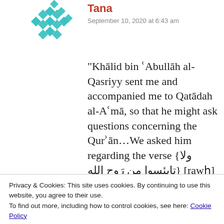[Figure (illustration): Teal/turquoise geometric diamond pattern avatar icon]
Tana
September 10, 2020 at 6:43 am
“Khālid bin ʿAbdullāh al-Qasriyy sent me and accompanied me to Qatādah al-Aʿmā, so that he might ask questions concerning the Qurʼān…We asked him regarding the verse {ولا تايئسوا من رَوح الله} [rawḥ] and he said “no, rather, rūḥ”
A fail this reading is shādh
Privacy & Cookies: This site uses cookies. By continuing to use this website, you agree to their use.
To find out more, including how to control cookies, see here: Cookie Policy
Close and accept
You know it might be a good